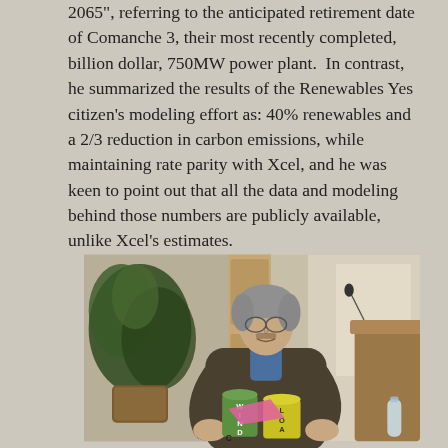2065", referring to the anticipated retirement date of Comanche 3, their most recently completed, billion dollar, 750MW power plant.  In contrast, he summarized the results of the Renewables Yes citizen's modeling effort as: 40% renewables and a 2/3 reduction in carbon emissions, while maintaining rate parity with Xcel, and he was keen to point out that all the data and modeling behind those numbers are publicly available, unlike Xcel's estimates.
[Figure (photo): A man in a brown jacket and blue shirt, with grey hair and glasses, leaning forward over a table or podium. He appears to be handling objects labeled 'WIND' and 'LOAD'. There are green plants visible to the left and a wooden podium with a microphone to the right.]